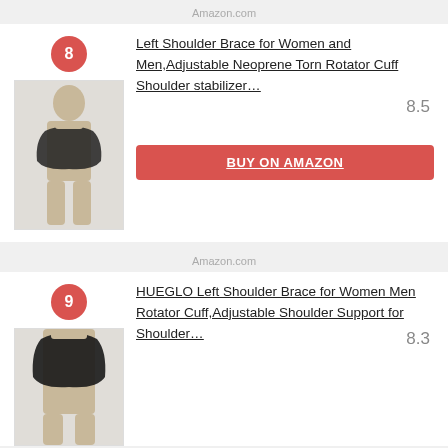Amazon.com
8
Left Shoulder Brace for Women and Men,Adjustable Neoprene Torn Rotator Cuff Shoulder stabilizer…
8.5
BUY ON AMAZON
Amazon.com
9
HUEGLO Left Shoulder Brace for Women Men Rotator Cuff,Adjustable Shoulder Support for Shoulder…
8.3